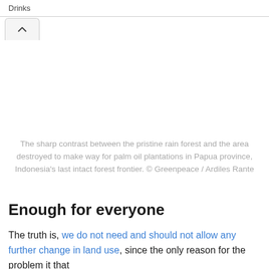Drinks
[Figure (screenshot): Navigation button with upward chevron arrow (collapse/back UI element)]
The sharp contrast between the pristine rain forest and the area destroyed to make way for palm oil plantations in Papua province, Indonesia's last intact forest frontier. © Greenpeace / Ardiles Rante
Enough for everyone
The truth is, we do not need and should not allow any further change in land use, since the only reason for the problem it that